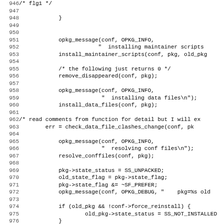[Figure (screenshot): Source code listing in monospace font showing C code lines 946-978, including opkg_message calls, install_maintainer_scripts, remove_disappeared, install_data_files, check_data_file_clashes_change, resolve_conffiles, state variable assignments, and a conditional block.]